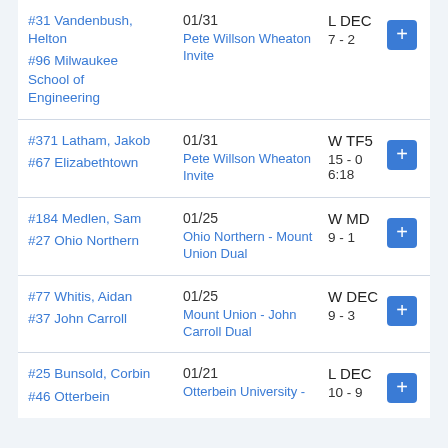| Opponent | Date / Event | Result |  |
| --- | --- | --- | --- |
| #31 Vandenbush, Helton
#96 Milwaukee School of Engineering | 01/31
Pete Willson Wheaton Invite | L DEC
7 - 2 | + |
| #371 Latham, Jakob
#67 Elizabethtown | 01/31
Pete Willson Wheaton Invite | W TF5
15 - 0
6:18 | + |
| #184 Medlen, Sam
#27 Ohio Northern | 01/25
Ohio Northern - Mount Union Dual | W MD
9 - 1 | + |
| #77 Whitis, Aidan
#37 John Carroll | 01/25
Mount Union - John Carroll Dual | W DEC
9 - 3 | + |
| #25 Bunsold, Corbin
#46 Otterbein | 01/21
Otterbein University - ... | L DEC
10 - 9 | + |